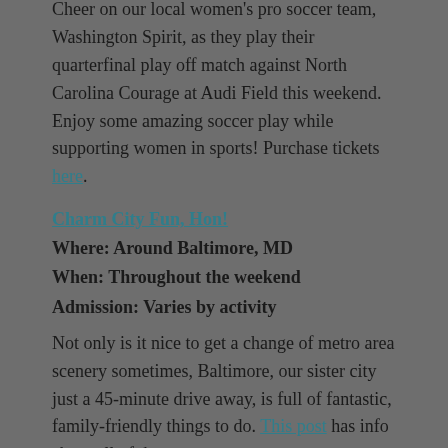Cheer on our local women's pro soccer team, Washington Spirit, as they play their quarterfinal play off match against North Carolina Courage at Audi Field this weekend. Enjoy some amazing soccer play while supporting women in sports! Purchase tickets here.
Charm City Fun, Hon!
Where: Around Baltimore, MD
When: Throughout the weekend
Admission: Varies by activity
Not only is it nice to get a change of metro area scenery sometimes, Baltimore, our sister city just a 45-minute drive away, is full of fantastic, family-friendly things to do. This post has info about all of the...